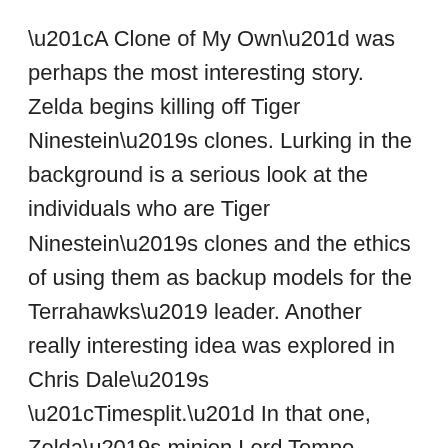“A Clone of My Own” was perhaps the most interesting story. Zelda begins killing off Tiger Ninestein’s clones. Lurking in the background is a serious look at the individuals who are Tiger Ninestein’s clones and the ethics of using them as backup models for the Terrahawks’ leader. Another really interesting idea was explored in Chris Dale’s “Timesplit.” In that one, Zelda’s minion Lord Tempo creates two versions of Lieutenant Hawkeye based based on the possible outcomes of an encounter. He would either escape or be captured. In this case, both happen.
Two of the funniest episodes are “Clubbed to Death” in which Zelda starts a payday loan scam on Earth and “No Laughing Matter” in which a comedian is sent to paralyze our heroes by making them laugh to the point that they